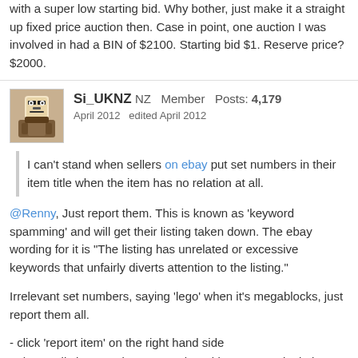with a super low starting bid. Why bother, just make it a straight up fixed price auction then. Case in point, one auction I was involved in had a BIN of $2100. Starting bid $1. Reserve price? $2000.
Si_UKNZ NZ Member Posts: 4,179
April 2012 edited April 2012
I can't stand when sellers on ebay put set numbers in their item title when the item has no relation at all.
@Renny, Just report them. This is known as 'keyword spamming' and will get their listing taken down. The ebay wording for it is "The listing has unrelated or excessive keywords that unfairly diverts attention to the listing."
Irrelevant set numbers, saying 'lego' when it's megablocks, just report them all.
- click 'report item' on the right hand side
- choose 'listing practises' -'search and browse manipulation' - 'keyword spamming'
- et voila!
I reported that one for you :)